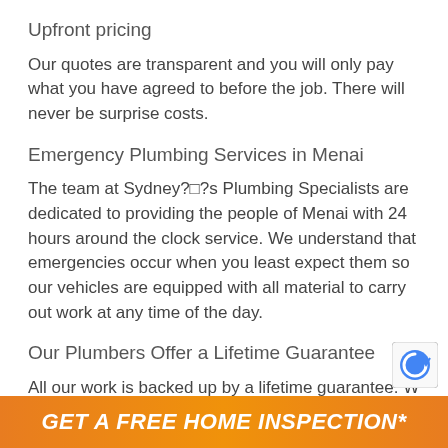Upfront pricing
Our quotes are transparent and you will only pay what you have agreed to before the job. There will never be surprise costs.
Emergency Plumbing Services in Menai
The team at Sydney?ï¿½?s Plumbing Specialists are dedicated to providing the people of Menai with 24 hours around the clock service. We understand that emergencies occur when you least expect them so our vehicles are equipped with all material to carry out work at any time of the day.
Our Plumbers Offer a Lifetime Guarantee
All our work is backed up by a lifetime guarantee. W
GET A FREE HOME INSPECTION*